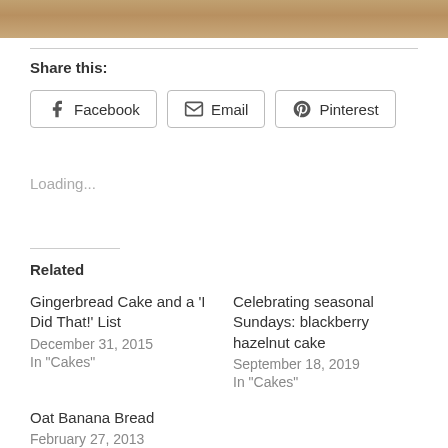[Figure (photo): Partial photo strip at top of page, showing what appears to be a baked good or food item in warm brown tones]
Share this:
Facebook  Email  Pinterest
Loading...
Related
Gingerbread Cake and a 'I Did That!' List
December 31, 2015
In "Cakes"
Celebrating seasonal Sundays: blackberry hazelnut cake
September 18, 2019
In "Cakes"
Oat Banana Bread
February 27, 2013
In "Breakfast"